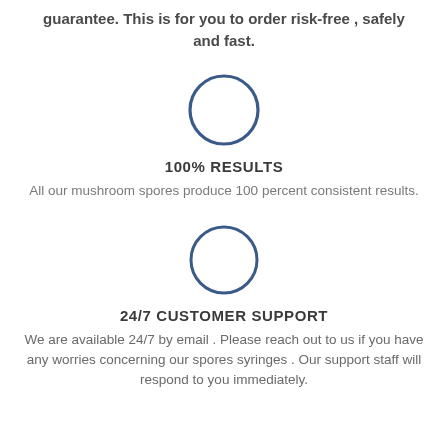guarantee. This is for you to order risk-free , safely and fast.
[Figure (illustration): A circle outline drawn in dark blue/navy color, empty inside, used as an icon placeholder.]
100% RESULTS
All our mushroom spores produce 100 percent consistent results.
[Figure (illustration): A circle outline drawn in dark blue/navy color, empty inside, used as an icon placeholder.]
24/7 CUSTOMER SUPPORT
We are available 24/7 by email . Please reach out to us if you have any worries concerning our spores syringes . Our support staff will respond to you immediately.